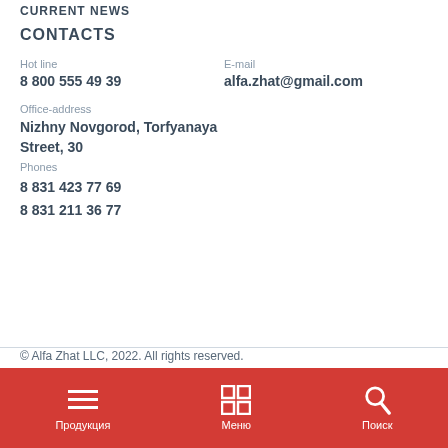CURRENT NEWS
CONTACTS
Hot line
8 800 555 49 39
E-mail
alfa.zhat@gmail.com
Office-address
Nizhny Novgorod, Torfyanaya Street, 30
Phones
8 831 423 77 69
8 831 211 36 77
© Alfa Zhat LLC, 2022. All rights reserved.
[Figure (screenshot): Mobile app bottom navigation bar with red background containing three icons: hamburger menu (Продукция), grid/menu icon (Меню), and search icon (Поиск)]